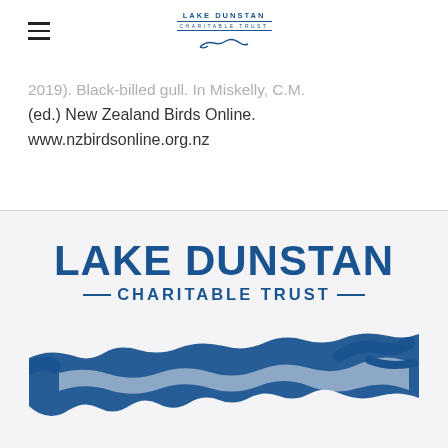Lake Dunstan Charitable Trust
(ed.) New Zealand Birds Online. www.nzbirdsonline.org.nz
[Figure (logo): Lake Dunstan Charitable Trust large logo with lake silhouette graphic]